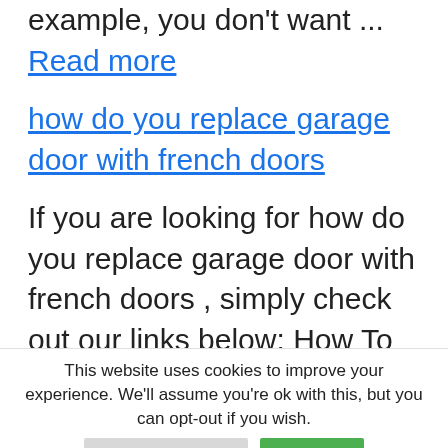example, you don't want ... Read more
how do you replace garage door with french doors
If you are looking for how do you replace garage door with french doors , simply check out our links below: How To Replace Your Garage Door With French Doors Double-Door Garage Conversion, Replace an overhead door with pre-hung double
This website uses cookies to improve your experience. We'll assume you're ok with this, but you can opt-out if you wish.